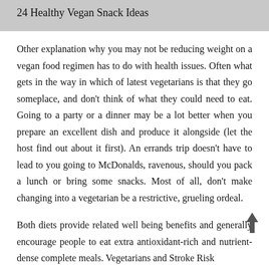24 Healthy Vegan Snack Ideas
Other explanation why you may not be reducing weight on a vegan food regimen has to do with health issues. Often what gets in the way in which of latest vegetarians is that they go someplace, and don't think of what they could need to eat. Going to a party or a dinner may be a lot better when you prepare an excellent dish and produce it alongside (let the host find out about it first). An errands trip doesn't have to lead to you going to McDonalds, ravenous, should you pack a lunch or bring some snacks. Most of all, don't make changing into a vegetarian be a restrictive, grueling ordeal.
Both diets provide related well being benefits and generally encourage people to eat extra antioxidant-rich and nutrient-dense complete meals. Vegetarians and Stroke Risk